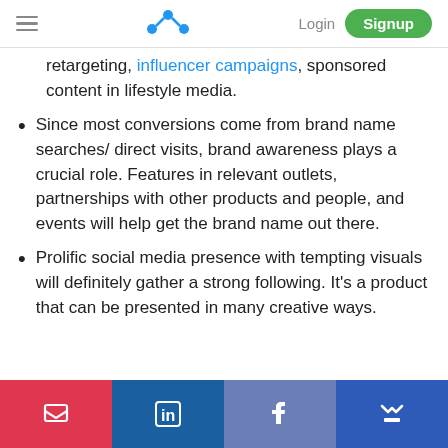Menu | Logo | Login | Signup
retargeting, influencer campaigns, sponsored content in lifestyle media.
Since most conversions come from brand name searches/ direct visits, brand awareness plays a crucial role. Features in relevant outlets, partnerships with other products and people, and events will help get the brand name out there.
Prolific social media presence with tempting visuals will definitely gather a strong following. It’s a product that can be presented in many creative ways.
Pocket | LinkedIn | Facebook Like | Crown